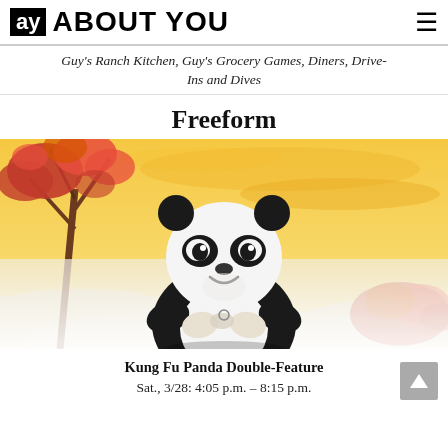ay ABOUT YOU ≡
Guy's Ranch Kitchen, Guy's Grocery Games, Diners, Drive-Ins and Dives
Freeform
[Figure (illustration): Animated panda character (Po from Kung Fu Panda) in a prayer/bow pose, with autumn red trees and golden sky background]
Kung Fu Panda Double-Feature
Sat., 3/28: 4:05 p.m. – 8:15 p.m.